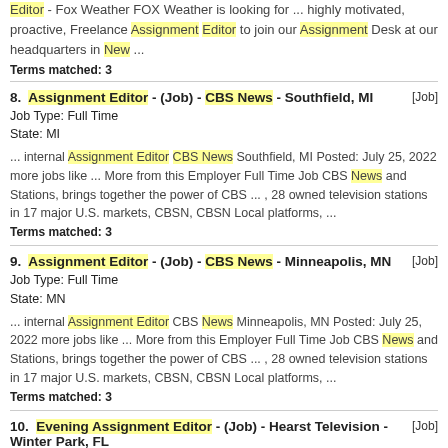Editor - Fox Weather FOX Weather is looking for ... highly motivated, proactive, Freelance Assignment Editor to join our Assignment Desk at our headquarters in New ... Terms matched: 3
8. Assignment Editor - (Job) - CBS News - Southfield, MI [Job] Job Type: Full Time State: MI ... internal Assignment Editor CBS News Southfield, MI Posted: July 25, 2022 more jobs like ... More from this Employer Full Time Job CBS News and Stations, brings together the power of CBS ... , 28 owned television stations in 17 major U.S. markets, CBSN, CBSN Local platforms, ... Terms matched: 3
9. Assignment Editor - (Job) - CBS News - Minneapolis, MN [Job] Job Type: Full Time State: MN ... internal Assignment Editor CBS News Minneapolis, MN Posted: July 25, 2022 more jobs like ... More from this Employer Full Time Job CBS News and Stations, brings together the power of CBS ... , 28 owned television stations in 17 major U.S. markets, CBSN, CBSN Local platforms, ... Terms matched: 3
10. Evening Assignment Editor - (Job) - Hearst Television - Winter Park, FL [Job] Job Type: Full Time State: FL